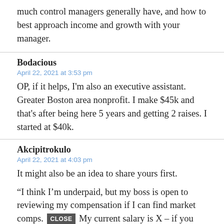much control managers generally have, and how to best approach income and growth with your manager.
Bodacious
April 22, 2021 at 3:53 pm
OP, if it helps, I'm also an executive assistant. Greater Boston area nonprofit. I make $45k and that's after being here 5 years and getting 2 raises. I started at $40k.
Akcipitrokulo
April 22, 2021 at 4:03 pm
It might also be an idea to share yours first.

“I think I’m underpaid, but my boss is open to reviewing my compensation if I can find market comps. My current salary is X – if you don’t mind, how does that measure up in your experience?”